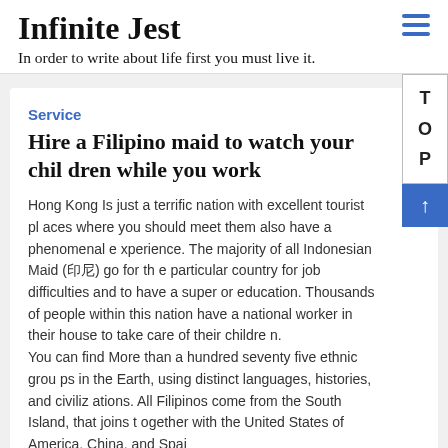Infinite Jest
In order to write about life first you must live it.
Service
Hire a Filipino maid to watch your children while you work
Hong Kong Is just a terrific nation with excellent tourist places where you should meet them also have a phenomenal experience. The majority of all Indonesian Maid (印尼) go for the particular country for job difficulties and to have a superior education. Thousands of people within this nation have a national worker in their house to take care of their children.
You can find More than a hundred seventy five ethnic groups in the Earth, using distinct languages, histories, and civilizations. All Filipinos come from the South Island, that joins together with the United States of America, China, and Spai